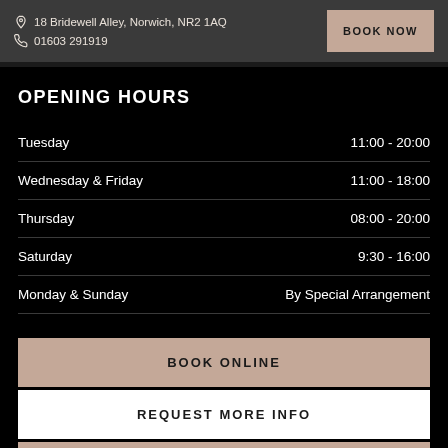18 Bridewell Alley, Norwich, NR2 1AQ | 01603 291919 | BOOK NOW
OPENING HOURS
| Day | Hours |
| --- | --- |
| Tuesday | 11:00 - 20:00 |
| Wednesday & Friday | 11:00 - 18:00 |
| Thursday | 08:00 - 20:00 |
| Saturday | 9:30 - 16:00 |
| Monday & Sunday | By Special Arrangement |
BOOK ONLINE
REQUEST MORE INFO